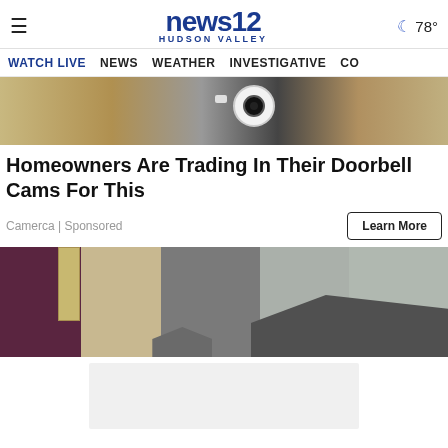news12 HUDSON VALLEY | 78°
WATCH LIVE | NEWS | WEATHER | INVESTIGATIVE | CO
[Figure (photo): Close-up photo of a security camera mounted on a wall with beige insulation foam visible]
Homeowners Are Trading In Their Doorbell Cams For This
Camerca | Sponsored
Learn More
[Figure (photo): Photo showing rooftops and a chimney with trees in the background]
[Figure (other): Advertisement placeholder box (light gray)]